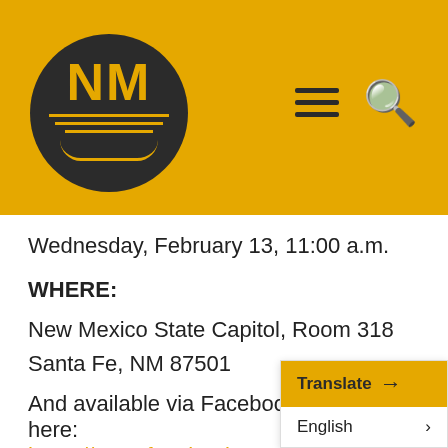[Figure (logo): New Mexico NM circular logo on gold/amber header bar with hamburger menu and search icon]
Wednesday, February 13, 11:00 a.m.
WHERE:
New Mexico State Capitol, Room 318
Santa Fe, NM 87501
And available via Facebook live here: https://www.facebook.com/TransformEd
*Speakers and other coalition members will be available in the press for one-on-one i